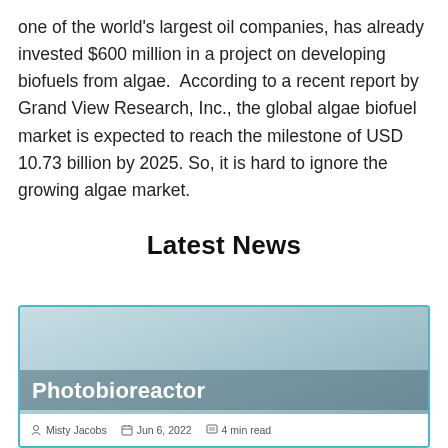one of the world's largest oil companies, has already invested $600 million in a project on developing biofuels from algae.  According to a recent report by Grand View Research, Inc., the global algae biofuel market is expected to reach the milestone of USD 10.73 billion by 2025. So, it is hard to ignore the growing algae market.
Latest News
[Figure (photo): Card with photo background of a photobioreactor, overlaid with title 'Photobioreactor' in white text, and meta information: author Misty Jacobs, date Jun 6, 2022, reading time 4 min read]